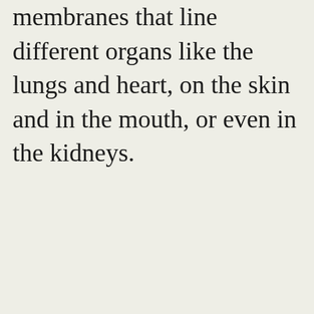membranes that line different organs like the lungs and heart, on the skin and in the mouth, or even in the kidneys.